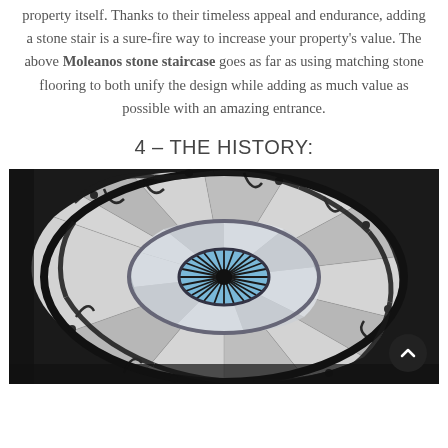property itself. Thanks to their timeless appeal and endurance, adding a stone stair is a sure-fire way to increase your property's value. The above Moleanos stone staircase goes as far as using matching stone flooring to both unify the design while adding as much value as possible with an amazing entrance.
4 – THE HISTORY:
[Figure (photo): Aerial view looking down a spiral staircase with ornate black ironwork railings, white stone steps curling around a circular skylight at the center showing blue sky and radiating spokes.]